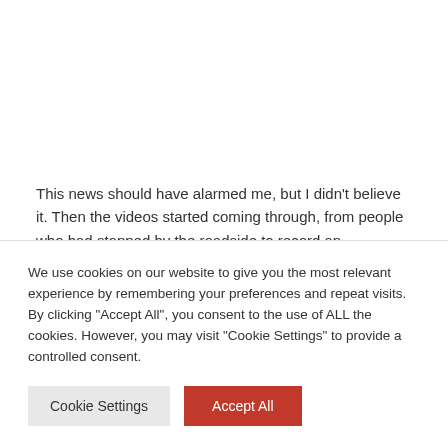This news should have alarmed me, but I didn't believe it. Then the videos started coming through, from people who had stopped by the roadside to record an extraordinary
We use cookies on our website to give you the most relevant experience by remembering your preferences and repeat visits. By clicking "Accept All", you consent to the use of ALL the cookies. However, you may visit "Cookie Settings" to provide a controlled consent.
Cookie Settings
Accept All